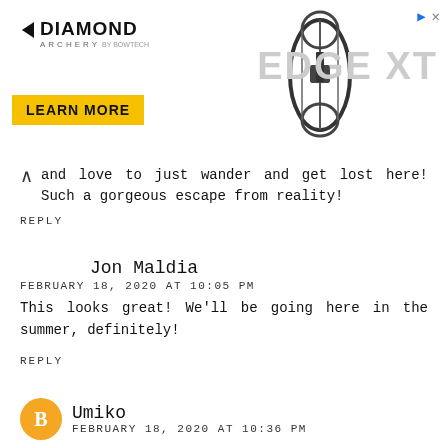[Figure (photo): Diamond Archery advertisement banner featuring the Edge XT bow with a compound bow image, Learn More button, and navigation icons.]
and love to just wander and get lost here! Such a gorgeous escape from reality!
REPLY
Jon Maldia
FEBRUARY 18, 2020 AT 10:05 PM
This looks great! We'll be going here in the summer, definitely!
REPLY
Umiko
FEBRUARY 18, 2020 AT 10:36 PM
I like visiting garden like this just to unwind from daily activities. It's so green and the plant collections are amazing.